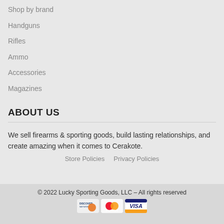Shop by brand
Handguns
Rifles
Ammo
Accessories
Magazines
ABOUT US
We sell firearms & sporting goods, build lasting relationships, and create amazing when it comes to Cerakote.
Store Policies    Privacy Policies
© 2022 Lucky Sporting Goods, LLC – All rights reserved